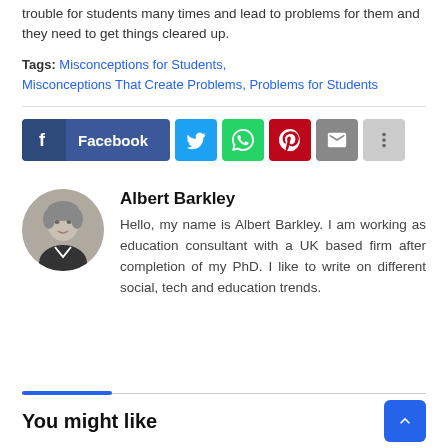trouble for students many times and lead to problems for them and they need to get things cleared up.
Tags: Misconceptions for Students, Misconceptions That Create Problems, Problems for Students
[Figure (other): Social share buttons: Facebook, Twitter, WhatsApp, Pinterest, Email, More]
[Figure (photo): Circular avatar photo of Albert Barkley, a middle-aged man with gray hair wearing a dark jacket]
Albert Barkley
Hello, my name is Albert Barkley. I am working as education consultant with a UK based firm after completion of my PhD. I like to write on different social, tech and education trends.
You might like